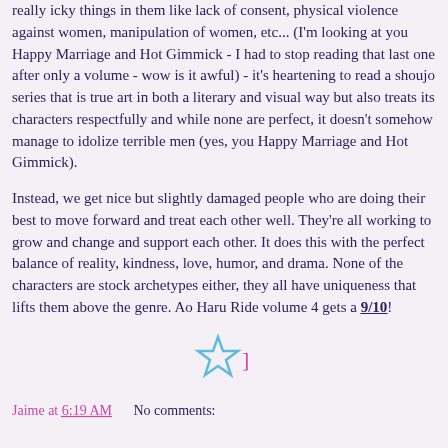really icky things in them like lack of consent, physical violence against women, manipulation of women, etc... (I'm looking at you Happy Marriage and Hot Gimmick - I had to stop reading that last one after only a volume - wow is it awful) - it's heartening to read a shoujo series that is true art in both a literary and visual way but also treats its characters respectfully and while none are perfect, it doesn't somehow manage to idolize terrible men (yes, you Happy Marriage and Hot Gimmick).
Instead, we get nice but slightly damaged people who are doing their best to move forward and treat each other well. They're all working to grow and change and support each other. It does this with the perfect balance of reality, kindness, love, humor, and drama. None of the characters are stock archetypes either, they all have uniqueness that lifts them above the genre. Ao Haru Ride volume 4 gets a 9/10!
[Figure (other): A star rating icon (outlined star) with a small square bracket character next to it, centered on the page]
Jaime at 6:19 AM    No comments: